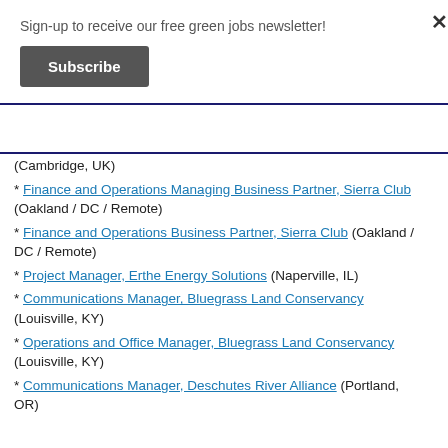Sign-up to receive our free green jobs newsletter!
Subscribe
(Cambridge, UK)
* Finance and Operations Managing Business Partner, Sierra Club (Oakland / DC / Remote)
* Finance and Operations Business Partner, Sierra Club (Oakland / DC / Remote)
* Project Manager, Erthe Energy Solutions (Naperville, IL)
* Communications Manager, Bluegrass Land Conservancy (Louisville, KY)
* Operations and Office Manager, Bluegrass Land Conservancy (Louisville, KY)
* Communications Manager, Deschutes River Alliance (Portland, OR)